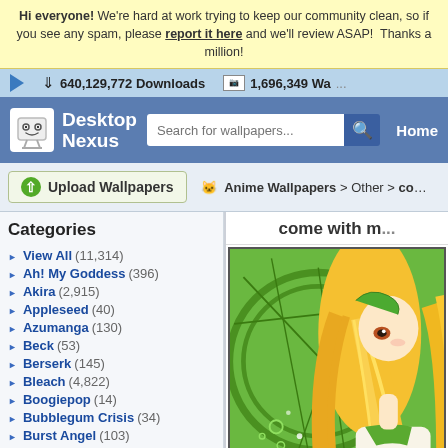Hi everyone! We're hard at work trying to keep our community clean, so if you see any spam, please report it here and we'll review ASAP! Thanks a million!
640,129,772 Downloads   1,696,349 Wa...
[Figure (screenshot): Desktop Nexus logo with robot mascot icon and site name]
Search for wallpapers... [search box] Home
Upload Wallpapers
Anime Wallpapers > Other > come with...
come with m...
Categories
View All (11,314)
Ah! My Goddess (396)
Akira (2,915)
Appleseed (40)
Azumanga (130)
Beck (53)
Berserk (145)
Bleach (4,822)
Boogiepop (14)
Bubblegum Crisis (34)
Burst Angel (103)
Card Captor Sakura (736)
Chobits (406)
Chrono Crusade (61)
[Figure (illustration): Anime girl with long golden hair and green outfit, decorative green circular background]